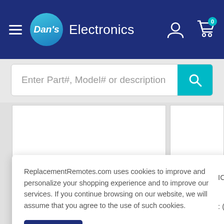Dan's Electronics — navigation header with hamburger menu, logo, search bar, account icon, and cart
Enter Part#, Model# or description
ReplacementRemotes.com uses cookies to improve and personalize your shopping experience and to improve our services. If you continue browsing on our website, we will assume that you agree to the use of such cookies.
Accept